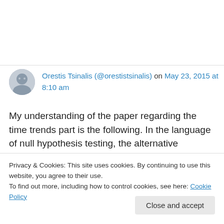Orestis Tsinalis (@orestistsinalis) on May 23, 2015 at 8:10 am
My understanding of the paper regarding the time trends part is the following. In the language of null hypothesis testing, the alternative hypothesis is that there is a time trend. The null hypothesis is that there is no time trend. It is a null hypothesis, because it has less assumptions
Privacy & Cookies: This site uses cookies. By continuing to use this website, you agree to their use.
To find out more, including how to control cookies, see here: Cookie Policy
Close and accept